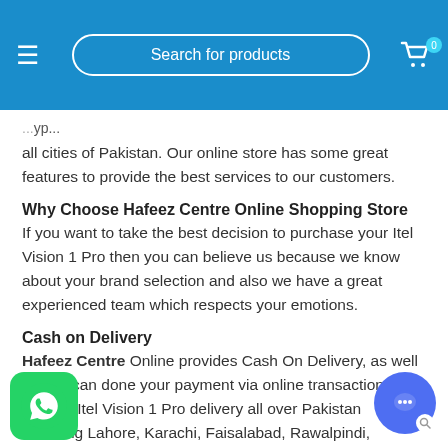Search for products | Cart 0
all cities of Pakistan. Our online store has some great features to provide the best services to our customers.
Why Choose Hafeez Centre Online Shopping Store
If you want to take the best decision to purchase your Itel Vision 1 Pro then you can believe us because we know about your brand selection and also we have a great experienced team which respects your emotions.
Cash on Delivery
Hafeez Centre Online provides Cash On Delivery, as well as you can done your payment via online transactions. We provide Itel Vision 1 Pro delivery all over Pakistan including Lahore, Karachi, Faisalabad, Rawalpindi, Gujranwala, Peshawar, Multan, and Islamabad.
Now
...you are interested... what are you waiting for...! Hurry up t... d...e booking for Itel Vision 1 Pro from for ent e...li...d...